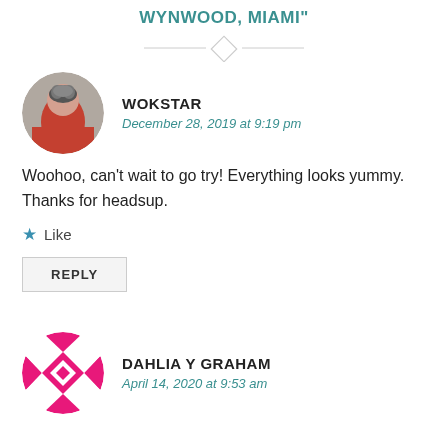WYNWOOD, MIAMI"
WOKSTAR
December 28, 2019 at 9:19 pm
Woohoo, can't wait to go try! Everything looks yummy. Thanks for headsup.
Like
REPLY
DAHLIA Y GRAHAM
April 14, 2020 at 9:53 am